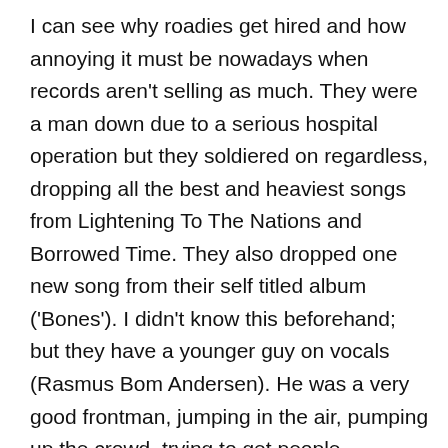I can see why roadies get hired and how annoying it must be nowadays when records aren't selling as much. They were a man down due to a serious hospital operation but they soldiered on regardless, dropping all the best and heaviest songs from Lightening To The Nations and Borrowed Time. They also dropped one new song from their self titled album ('Bones'). I didn't know this beforehand; but they have a younger guy on vocals (Rasmus Bom Andersen). He was a very good frontman, jumping in the air, pumping up the crowd, trying to get people enthusiastic and doing a very good job of mimicking the original vocals. I've been listening 'In The Heat Of The Night' a lot recently so I really enjoyed it live –